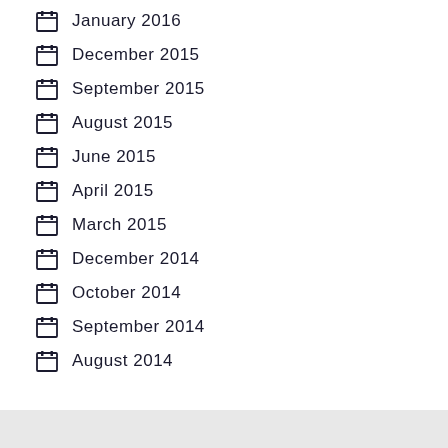January 2016
December 2015
September 2015
August 2015
June 2015
April 2015
March 2015
December 2014
October 2014
September 2014
August 2014